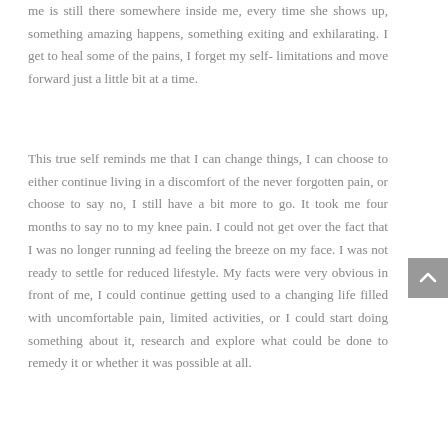me is still there somewhere inside me, every time she shows up, something amazing happens, something exiting and exhilarating. I get to heal some of the pains, I forget my self- limitations and move forward just a little bit at a time.
This true self reminds me that I can change things, I can choose to either continue living in a discomfort of the never forgotten pain, or choose to say no, I still have a bit more to go. It took me four months to say no to my knee pain. I could not get over the fact that I was no longer running ad feeling the breeze on my face. I was not ready to settle for reduced lifestyle. My facts were very obvious in front of me, I could continue getting used to a changing life filled with uncomfortable pain, limited activities, or I could start doing something about it, research and explore what could be done to remedy it or whether it was possible at all.